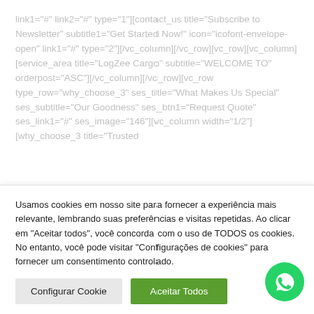link1="#" link2="#" type="1"][contact_us title="Subscribe to Newsletter" subtitle1="Get Started Now!" icon="icofont-envelope-open" link1="#" type="2"][/vc_column][/vc_row][vc_row][vc_column][service_area title="LogZee Cargo" subtitle="WELCOME TO" orderpost="ASC"][/vc_column][/vc_row][vc_row type_row="why_choose_3" ses_title="What Makes Us Special" ses_subtitle="Our Goodness" ses_btn1="Request Quote" ses_link1="#" ses_image="146"][vc_column width="1/2"][why_choose_3 title="Trusted
Usamos cookies em nosso site para fornecer a experiência mais relevante, lembrando suas preferências e visitas repetidas. Ao clicar em "Aceitar todos", você concorda com o uso de TODOS os cookies. No entanto, você pode visitar "Configurações de cookies" para fornecer um consentimento controlado.